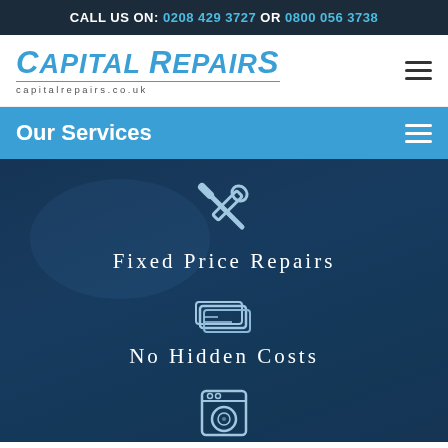CALL US ON: 0208 429 3727 OR 0800 056 3738
[Figure (logo): Capital Repairs logo with text 'CAPITAL REPAIRS capitalrepairs.co.uk' in blue italic font]
Our Services
[Figure (infographic): Dark blue hero section with wrench/screwdriver icon, text 'Fixed Price Repairs', stacked cash/cards icon, text 'No Hidden Costs', and washing machine icon at bottom]
Fixed Price Repairs
No Hidden Costs